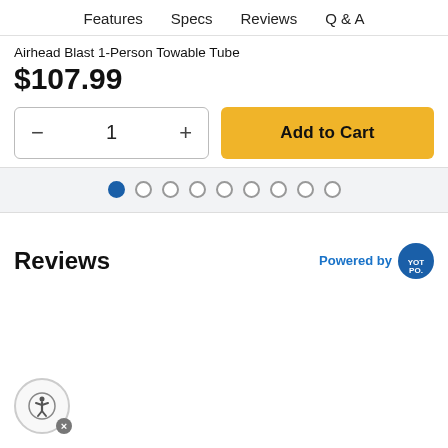Features  Specs  Reviews  Q & A
Airhead Blast 1-Person Towable Tube
$107.99
[Figure (screenshot): Quantity selector showing 1 with minus and plus buttons, and a yellow Add to Cart button]
[Figure (other): Carousel dot indicators: 9 dots, first one filled blue, rest empty circles]
Reviews
Powered by [YotPo logo]
[Figure (illustration): Accessibility icon button (person in circle with X close badge)]